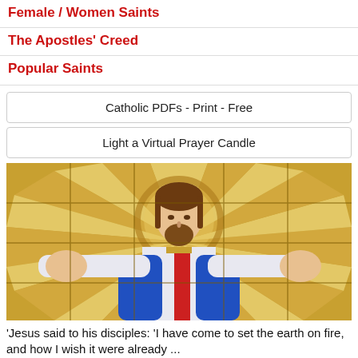Female / Women Saints
The Apostles' Creed
Popular Saints
Catholic PDFs - Print - Free
Light a Virtual Prayer Candle
[Figure (photo): Stained glass window depiction of Jesus Christ with arms outstretched and a halo, surrounded by radiating golden glass panels]
'Jesus said to his disciples: 'I have come to set the earth on fire, and how I wish it were already ...
[Figure (photo): Partial thumbnail image at bottom left (partially visible)]